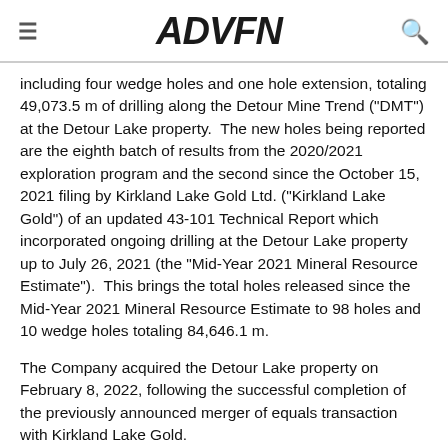ADVFN
including four wedge holes and one hole extension, totaling 49,073.5 m of drilling along the Detour Mine Trend ("DMT") at the Detour Lake property.  The new holes being reported are the eighth batch of results from the 2020/2021 exploration program and the second since the October 15, 2021 filing by Kirkland Lake Gold Ltd. ("Kirkland Lake Gold") of an updated 43-101 Technical Report which incorporated ongoing drilling at the Detour Lake property up to July 26, 2021 (the "Mid-Year 2021 Mineral Resource Estimate").  This brings the total holes released since the Mid-Year 2021 Mineral Resource Estimate to 98 holes and 10 wedge holes totaling 84,646.1 m.
The Company acquired the Detour Lake property on February 8, 2022, following the successful completion of the previously announced merger of equals transaction with Kirkland Lake Gold.